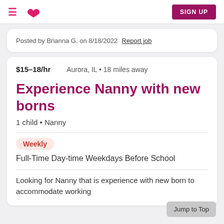SIGN UP
Posted by Brianna G. on 8/18/2022 Report job
$15–18/hr    Aurora, IL • 18 miles away
Experience Nanny with new borns
1 child • Nanny
Weekly
Full-Time Day-time Weekdays Before School
Looking for Nanny that is experience with new born to accommodate working